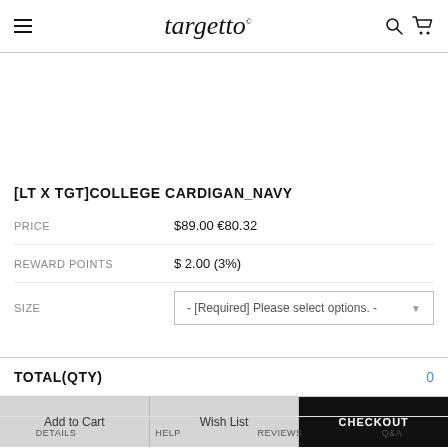targetto
[LT X TGT]COLLEGE CARDIGAN_NAVY
|  |  |
| --- | --- |
| PRICE | $89.00 €80.32 |
| REWARD POINTS | $ 2.00 (3%) |
| SIZE | - [Required] Please select options. - |
TOTAL(QTY)   0
Add to Cart
Wish List
CHECKOUT
DETAILS   HELP   REVIEWS   Q&A